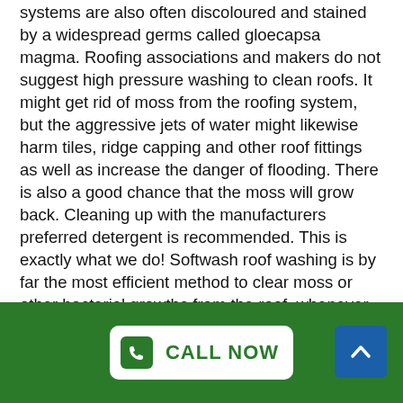systems are also often discoloured and stained by a widespread germs called gloecapsa magma. Roofing associations and makers do not suggest high pressure washing to clean roofs. It might get rid of moss from the roofing system, but the aggressive jets of water might likewise harm tiles, ridge capping and other roof fittings as well as increase the danger of flooding. There is also a good chance that the moss will grow back. Cleaning up with the manufacturers preferred detergent is recommended. This is exactly what we do! Softwash roof washing is by far the most efficient method to clear moss or other bacterial growths from the roof, whenever they are at risk of falling out, they are long overdue.
CALL NOW